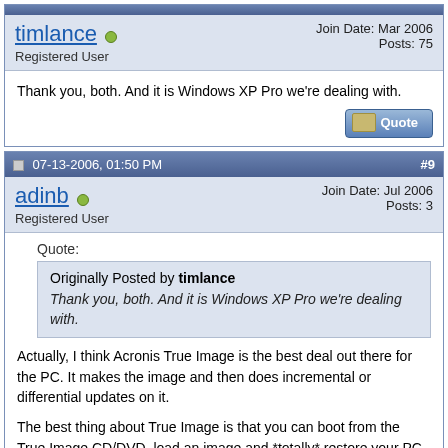timlance — Registered User — Join Date: Mar 2006 — Posts: 75
Thank you, both. And it is Windows XP Pro we're dealing with.
07-13-2006, 01:50 PM — #9
adinb — Registered User — Join Date: Jul 2006 — Posts: 3
Quote:
Originally Posted by timlance
Thank you, both. And it is Windows XP Pro we're dealing with.
Actually, I think Acronis True Image is the best deal out there for the PC. It makes the image and then does incremental or differential updates on it.
The best thing about True Image is that you can boot from the True Image CD/DVD, load an image and *totally* restore your PC, even if the HD has been wiped. Its the closest thing I've seen to mounting a sparseimage and restoring or firewire booting.